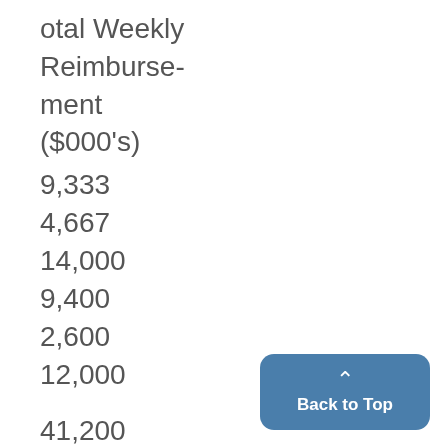| otal Weekly Reimburse-ment ($000's) |
| --- |
| 9,333 |
| 4,667 |
| 14,000 |
| 9,400 |
| 2,600 |
| 12,000 |
|  |
| 41,200 |
|  |
| 11,600 |
Back to Top